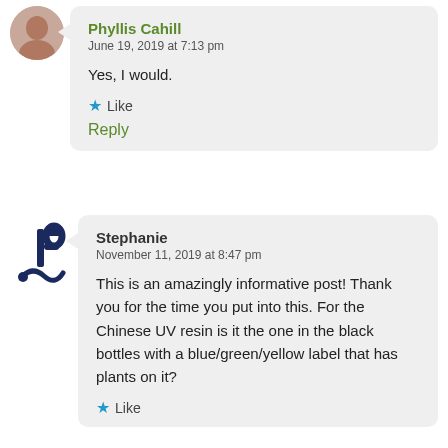Phyllis Cahill
June 19, 2019 at 7:13 pm
Yes, I would.
Like
Reply
[Figure (logo): Stephanie commenter avatar logo — dark blue stylized JP letters with decorative flourish]
Stephanie
November 11, 2019 at 8:47 pm
This is an amazingly informative post! Thank you for the time you put into this. For the Chinese UV resin is it the one in the black bottles with a blue/green/yellow label that has plants on it?
Like